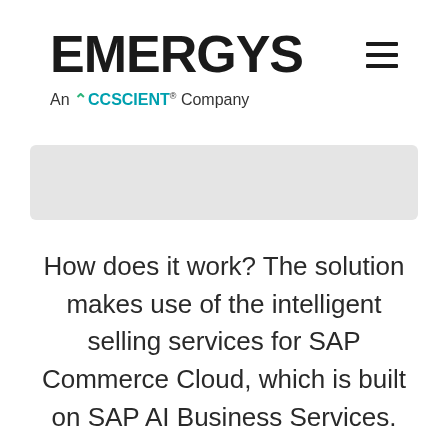EMERGYS — An ACCSCIENT® Company
[Figure (photo): Hero image area, light gray rectangle placeholder]
How does it work? The solution makes use of the intelligent selling services for SAP Commerce Cloud, which is built on SAP AI Business Services.